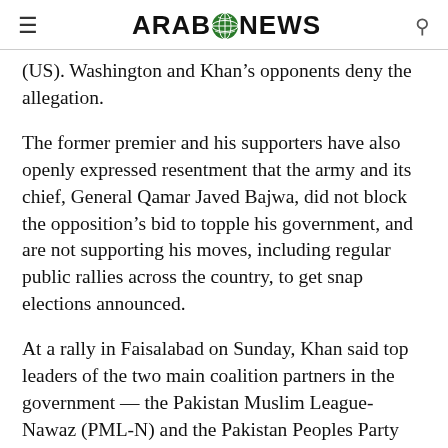ARAB NEWS
(US). Washington and Khan’s opponents deny the allegation.
The former premier and his supporters have also openly expressed resentment that the army and its chief, General Qamar Javed Bajwa, did not block the opposition’s bid to topple his government, and are not supporting his moves, including regular public rallies across the country, to get snap elections announced.
At a rally in Faisalabad on Sunday, Khan said top leaders of the two main coalition partners in the government — the Pakistan Muslim League-Nawaz (PML-N) and the Pakistan Peoples Party (PPP) — were hoping to appoint their “favorite”